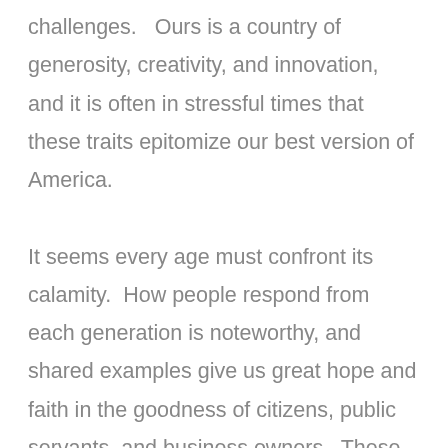challenges.   Ours is a country of generosity, creativity, and innovation, and it is often in stressful times that these traits epitomize our best version of America.

It seems every age must confront its calamity.  How people respond from each generation is noteworthy, and shared examples give us great hope and faith in the goodness of citizens, public servants, and business owners.  These stories from across the country, about people filling the needs of their communities while working to stay safe, should uplift and inspire us during this unprecedented time.